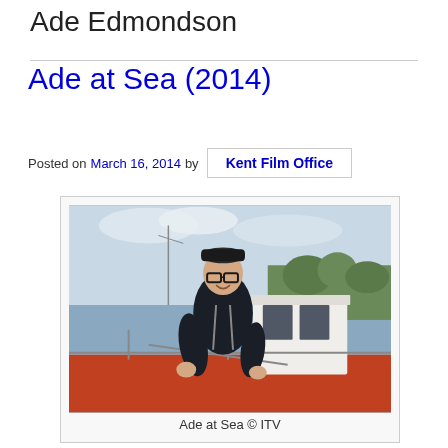Ade Edmondson
Ade at Sea (2014)
Posted on March 16, 2014 by Kent Film Office
[Figure (photo): Man in flat cap and glasses smiling on a boat at a harbour, with a white wheelhouse and red hull visible. Trees and masts in the background.]
Ade at Sea © ITV